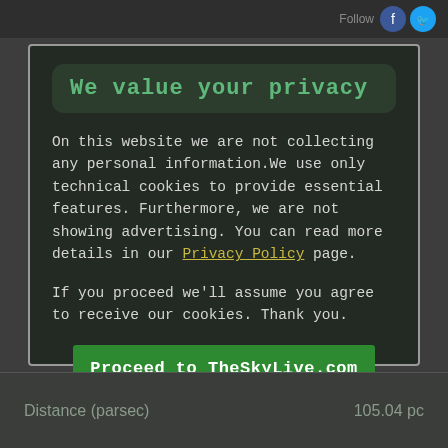We value your privacy
On this website we are not collecting any personal information.We use only technical cookies to provide essential features. Furthermore, we are not showing advertising. You can read more details in our Privacy Policy page.
If you proceed we'll assume you agree to receive our cookies. Thank you.
Proceed to TheSkyLive.com
| Distance (parsec) | 105.04 pc |
| --- | --- |